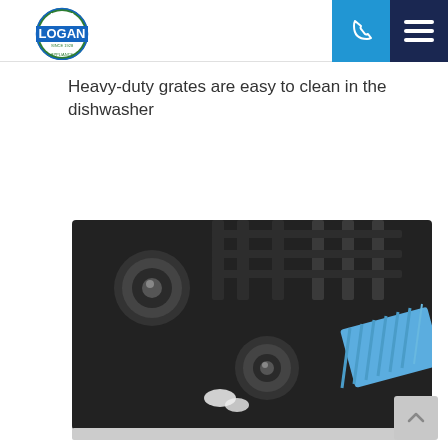[Figure (logo): Logan Appliance logo — circular badge with MASTER at top, LOGAN in large blue text, SINCE 1928 and APPLIANCE around the bottom, green and white circular design]
[Figure (other): Navigation header bar with blue phone icon button and dark navy hamburger menu button]
Heavy-duty grates are easy to clean in the dishwasher
[Figure (photo): Close-up photo of a black gas cooktop surface showing two burner caps/grates and a blue cleaning cloth/microfiber towel, with a small spill of white liquid near the center burner]